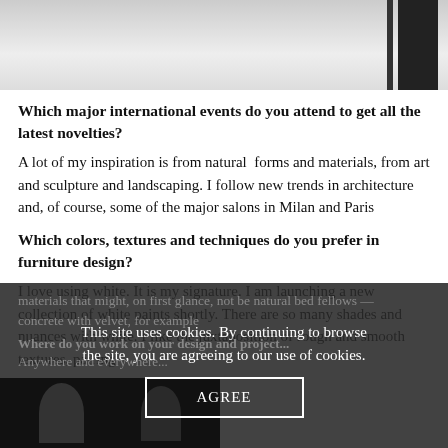[Figure (photo): Top photo showing white furniture/interior design, partially visible, with dark vertical element on right side]
Which major international events do you attend to get all the latest novelties?
A lot of my inspiration is from natural forms and materials, from art and sculpture and landscaping. I follow new trends in architecture and, of course, some of the major salons in Milan and Paris
Which colors, textures and techniques do you prefer in furniture design?
I love using white. It is my signature. I am launching a new collection of white paints shortly. There are so many shades and nuances with white. I like the juxtaposition of rough and smooth textures, pairing materials that might, on first glance, not be natural bed fellows — concrete with velvet, for example
Where do you work on your design and project...
Anywhere and everywhere...
[Figure (photo): Bottom dark area with silhouettes of people]
This site uses cookies. By continuing to browse the site, you are agreeing to our use of cookies.
AGREE